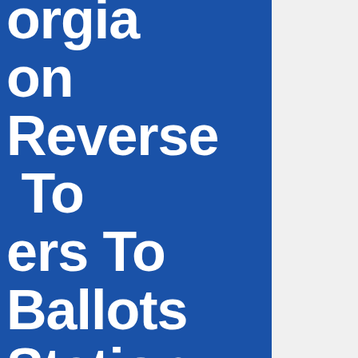Georgia Election Reverse To Voters To Ballots Station
FOR IMMEDIATE RELEASE: October 8, 2019
Media contact: Ana Maria Rosato